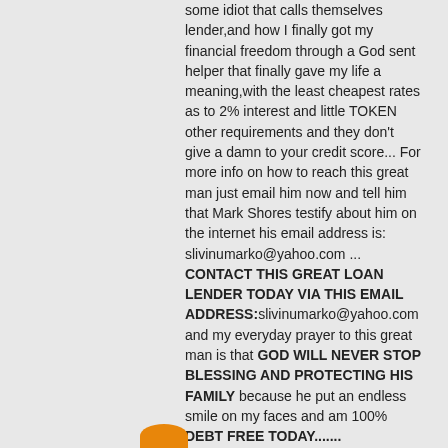some idiot that calls themselves lender,and how I finally got my financial freedom through a God sent helper that finally gave my life a meaning,with the least cheapest rates as to 2% interest and little TOKEN other requirements and they don't give a damn to your credit score... For more info on how to reach this great man just email him now and tell him that Mark Shores testify about him on the internet his email address is: slivinumarko@yahoo.com ... CONTACT THIS GREAT LOAN LENDER TODAY VIA THIS EMAIL ADDRESS:slivinumarko@yahoo.com and my everyday prayer to this great man is that GOD WILL NEVER STOP BLESSING AND PROTECTING HIS FAMILY because he put an endless smile on my faces and am 100% DEBT FREE TODAY.......
REPLY